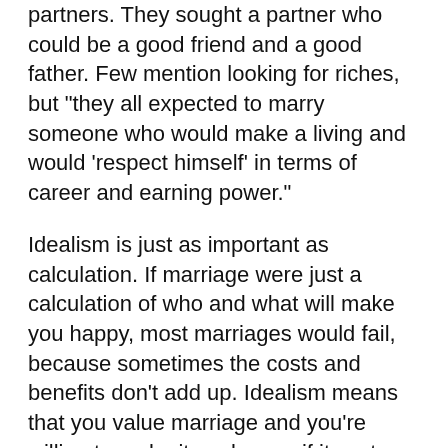partners. They sought a partner who could be a good friend and a good father. Few mention looking for riches, but "they all expected to marry someone who would make a living and would 'respect himself' in terms of career and earning power."
Idealism is just as important as calculation. If marriage were just a calculation of who and what will make you happy, most marriages would fail, because sometimes the costs and benefits don't add up. Idealism means that you value marriage and you're willing to make it work even if it costs you dearly. The fifties produced marriages that lasted partly because domesticity was an ideal bigger than the happiness of either party. There is a lot to be said for the men and women who stayed together "for the children's sake," and made things work.
Still, I wouldn't want to pass on that tradition unchanged to my children. Instead, I want them to value marriage as a reflection of God himself, of the unity in diversity that